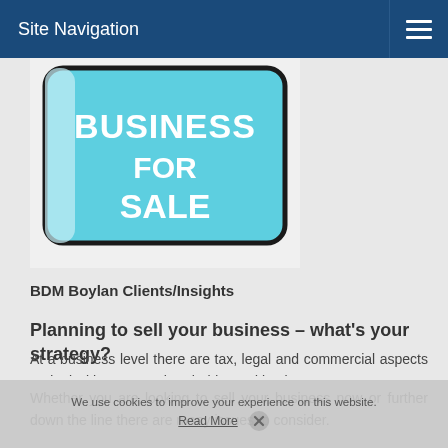Site Navigation
[Figure (illustration): Business For Sale sign illustration — a light blue tag/label with bold white text reading 'BUSINESS FOR SALE' with dark border and partial white background card]
BDM Boylan Clients/Insights
Planning to sell your business – what's your strategy?
Whether you are looking to sell your business now or further down the line there are many issues to consider.
At a business level there are tax, legal and commercial aspects to deal with. From a shareholder and business
We use cookies to improve your experience on this website. Read More